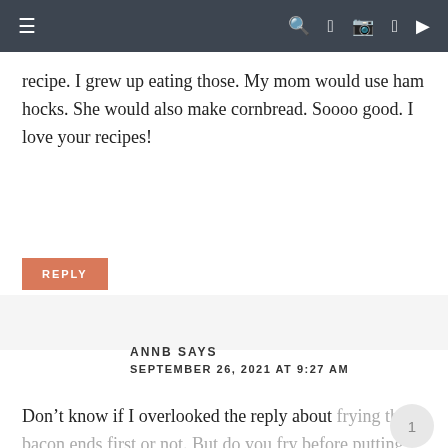≡ [search] [facebook] [instagram] [pinterest] [youtube]
recipe. I grew up eating those. My mom would use ham hocks. She would also make cornbread. Soooo good. I love your recipes!
REPLY
ANNB SAYS
SEPTEMBER 26, 2021 AT 9:27 AM
Don't know if I overlooked the reply about frying the bacon ends first or not. But do you fry before putting bacon ends in? Or